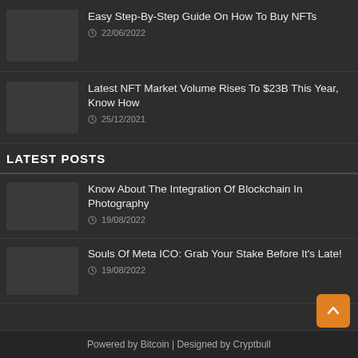Easy Step-By-Step Guide On How To Buy NFTs — 22/06/2022
Latest NFT Market Volume Rises To $23B This Year, Know How — 25/12/2021
LATEST POSTS
Know About The Integration Of Blockchain In Photography — 19/08/2022
Souls Of Meta ICO: Grab Your Stake Before It's Late! — 19/08/2022
Powered by Bitcoin | Designed by Cryptbull